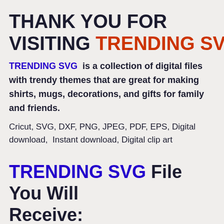THANK YOU FOR VISITING TRENDING SVG CO...
TRENDING SVG is a collection of digital files with trendy themes that are great for making shirts, mugs, decorations, and gifts for family and friends.
Cricut, SVG, DXF, PNG, JPEG, PDF, EPS, Digital download,  Instant download, Digital clip art
TRENDING SVG File You Will Receive: